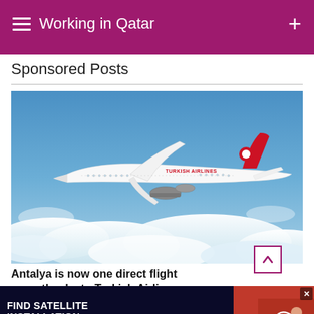Working in Qatar
Sponsored Posts
[Figure (photo): Turkish Airlines Boeing 787 Dreamliner aircraft in flight above clouds against blue sky, with red tail bearing Turkish Airlines logo and 'TURKISH AIRLINES' text on fuselage]
Antalya is now one direct flight away thanks to Turkish Airlines